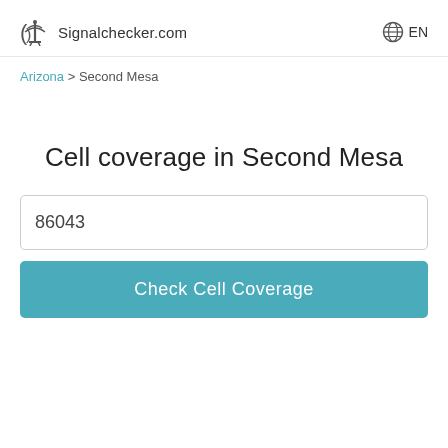Signalchecker.com  EN
Arizona > Second Mesa
Cell coverage in Second Mesa
86043
Check Cell Coverage